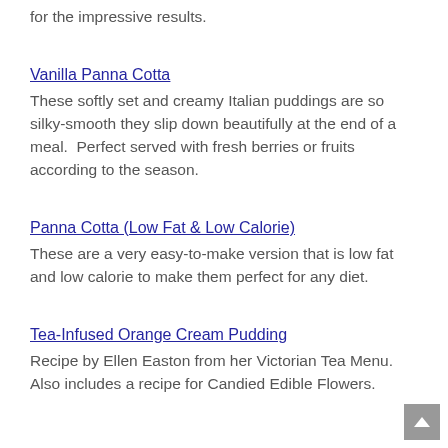for the impressive results.
Vanilla Panna Cotta
These softly set and creamy Italian puddings are so silky-smooth they slip down beautifully at the end of a meal.  Perfect served with fresh berries or fruits according to the season.
Panna Cotta (Low Fat & Low Calorie)
These are a very easy-to-make version that is low fat and low calorie to make them perfect for any diet.
Tea-Infused Orange Cream Pudding
Recipe by Ellen Easton from her Victorian Tea Menu.  Also includes a recipe for Candied Edible Flowers.